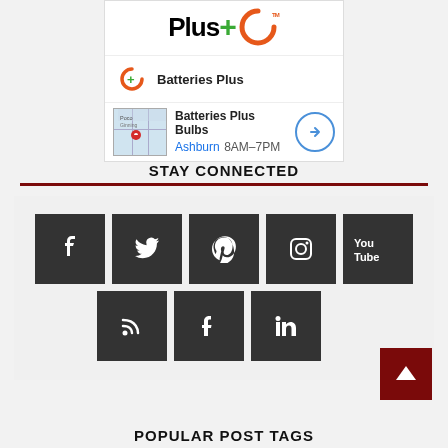[Figure (logo): Batteries Plus logo with orange arc, green plus sign, and brand name]
Batteries Plus
Batteries Plus Bulbs
Ashburn 8AM–7PM
STAY CONNECTED
[Figure (infographic): Social media icons grid: Facebook, Twitter, Pinterest, Instagram, YouTube (top row); RSS, Tumblr, LinkedIn (bottom row)]
POPULAR POST TAGS